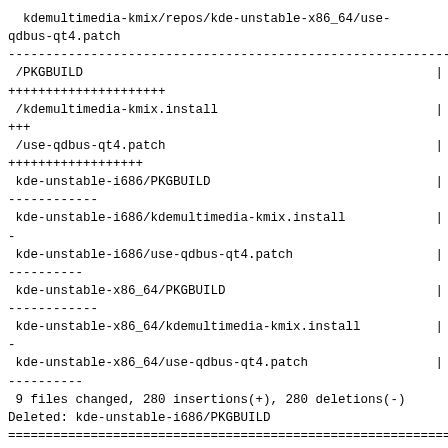kdemultimedia-kmix/repos/kde-unstable-x86_64/use-qdbus-qt4.patch
-----------------------------------------------------------+
 /PKGBUILD                                               |  140
+++++++++++++++++++++
 /kdemultimedia-kmix.install                             |   22
+++
 /use-qdbus-qt4.patch                                    |  118
++++++++++++++++++
 kde-unstable-i686/PKGBUILD                              |   70
------------
 kde-unstable-i686/kdemultimedia-kmix.install            |   11
-
 kde-unstable-i686/use-qdbus-qt4.patch                   |   59
----------
 kde-unstable-x86_64/PKGBUILD                            |   70
------------
 kde-unstable-x86_64/kdemultimedia-kmix.install          |   11
-
 kde-unstable-x86_64/use-qdbus-qt4.patch                 |   59
----------
 9 files changed, 280 insertions(+), 280 deletions(-)
Deleted: kde-unstable-i686/PKGBUILD
=================================================================
--- kde-unstable-i686/PKGBUILD  2015-12-09 08:01:36 UTC
(rev 254936)
+++ kde-unstable-i686/PKGBUILD  2015-12-09 08:02:04 UTC
(rev 254937)